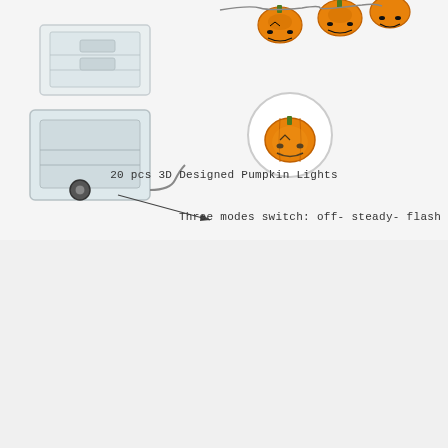[Figure (photo): Product infographic showing a battery pack/switch box on the left side and orange pumpkin-shaped LED string lights on the top right, with a circular inset showing a close-up of a single pumpkin light. Two text callouts: '20 pcs 3D Designed Pumpkin Lights' and 'Three modes switch: off- steady- flash' with an arrow pointing to the switch on the battery box.]
20 pcs 3D Designed Pumpkin Lights
Three modes switch: off- steady- flash
[Figure (photo): A decorative flag or textile featuring a white English Bulldog face against a red background with red and green snowflake patterns, suggesting a Christmas holiday theme.]